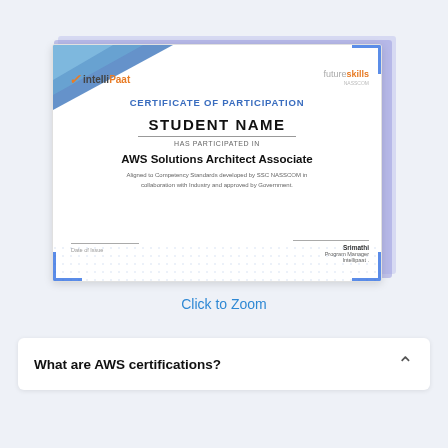[Figure (illustration): Certificate of Participation from IntelliPaat and FutureSkills for AWS Solutions Architect Associate course. Shows student name placeholder, has participated in text, course name, description about SSC NASSCOM competency standards, date of issue line, and signature by Srimathi, Program Manager, Intellipaat.]
Click to Zoom
What are AWS certifications?